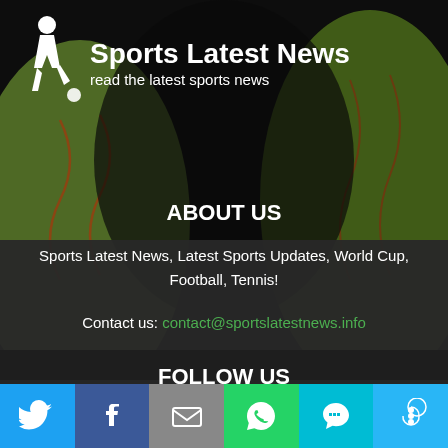[Figure (screenshot): Sports Latest News website header with soccer player silhouette logo on dark baseball background]
Sports Latest News
read the latest sports news
ABOUT US
Sports Latest News, Latest Sports Updates, World Cup, Football, Tennis!
Contact us: contact@sportslatestnews.info
FOLLOW US
This website uses cookies to improve your experience. We'll assume you're ok with this, but you can opt-out if you wish.
[Figure (infographic): Social share buttons: Twitter, Facebook, Email, WhatsApp, SMS, More]